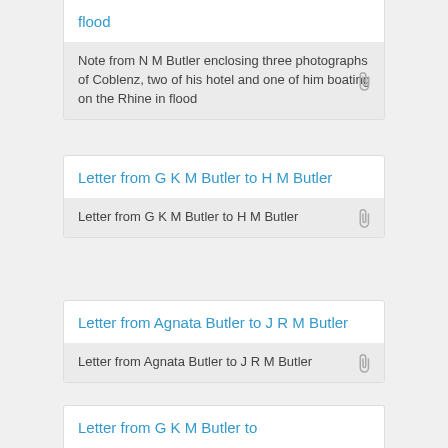flood
Note from N M Butler enclosing three photographs of Coblenz, two of his hotel and one of him boating on the Rhine in flood
Letter from G K M Butler to H M Butler
Letter from G K M Butler to H M Butler
Letter from Agnata Butler to J R M Butler
Letter from Agnata Butler to J R M Butler
Letter from G K M Butler to